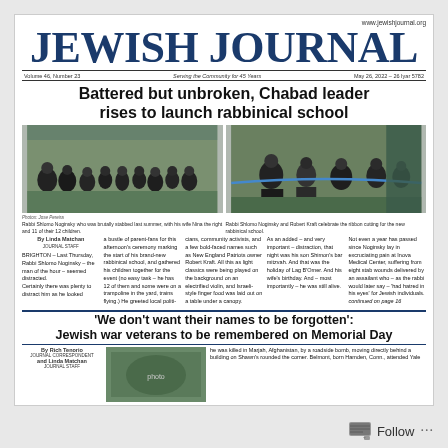www.jewishjournal.org
JEWISH JOURNAL
Volume 46, Number 23   Serving the Community for 45 Years   May 26, 2022 – 26 Iyar 5782
Battered but unbroken, Chabad leader rises to launch rabbinical school
[Figure (photo): Rabbi Shlomo Noginsky with his wife Nina, their eight sons and 11 of their 12 children, group photo outdoors]
[Figure (photo): Rabbi Shlomo Noginsky and Robert Kraft celebrate the ribbon cutting for the new rabbinical school]
Rabbi Shlomo Noginsky who was brutally stabbed last summer, with his wife Nina the right and 11 of their 12 children.
Rabbi Shlomo Noginsky and Robert Kraft celebrate the ribbon cutting for the new rabbinical school.
By Linda Matchan
JOURNAL STAFF
BRIGHTON – Last Thursday, Rabbi Shlomo Noginsky – the man of the hour – seemed distracted. Certainly there was plenty to distract him as he looked
a bustle of parent-fans for this afternoon's ceremony marking the start of his brand-new rabbinical school, and gathered his children together for the event (no easy task – he has 12 of them and some were on a trampoline in the yard, trains flying.) He greeted local politi-
cians, community activists, and a few bold-faced names such as New England Patriots owner Robert Kraft. All this as light classics were being played on the background on an electrified violin, and Israeli-style finger food was laid out on a table under a canopy.
As an added – and very important – distraction, that night was his son Shimon's bar mitzvah. And that was the holiday of Lag B'Omer. And his wife's birthday. And – most importantly – he was still alive.
Not even a year has passed since Noginsky lay in excruciating pain at Inova Medical Center, suffering from eight stab wounds delivered by an assailant who – as the rabbi would later say – 'had hatred in his eyes' for Jewish individuals. continued on page 16
'We don't want their names to be forgotten': Jewish war veterans to be remembered on Memorial Day
By Rich Tenorio
JOURNAL CORRESPONDENT
and Linda Matchan
JOURNAL STAFF
[Figure (photo): Photo related to Jewish war veterans memorial]
he was killed in Marjah, Afghanistan, by a roadside bomb, making directly behind a building on Shawn's rounded the corner. Belmont, born Hamden, Conn., attended Yale